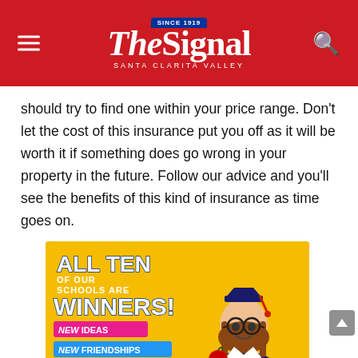The Signal — Santa Clarita Valley
should try to find one within your price range. Don't let the cost of this insurance put you off as it will be worth it if something does go wrong in your property in the future. Follow our advice and you'll see the benefits of this kind of insurance as time goes on.
[Figure (illustration): Advertisement for NSD (Newhall School District) with yellow background featuring a child in graduation cap and gown. Text reads: ALL TEN OF OUR SCHOOLS ARE WINNERS! NEW IDEAS, NEW FRIENDSHIPS, NEW BEGINNINGS. Enrollment is open within AND outside district. NSD logo.]